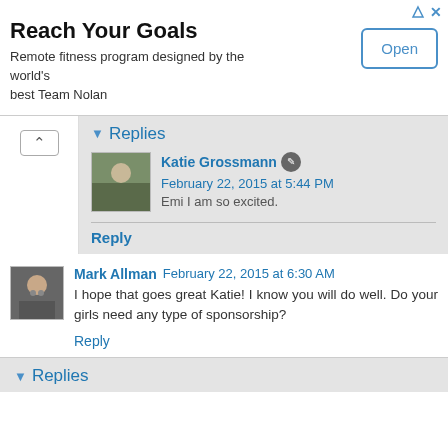[Figure (infographic): Advertisement banner: 'Reach Your Goals' with text 'Remote fitness program designed by the world's best Team Nolan' and an Open button]
Replies
Katie Grossmann  February 22, 2015 at 5:44 PM
Emi I am so excited.
Reply
Mark Allman  February 22, 2015 at 6:30 AM
I hope that goes great Katie! I know you will do well. Do your girls need any type of sponsorship?
Reply
Replies